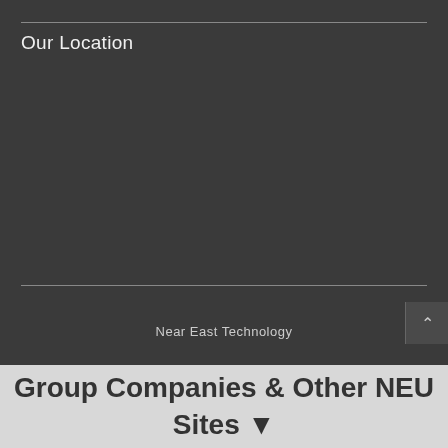Our Location
Near East Technology
Group Companies & Other NEU Sites ▼